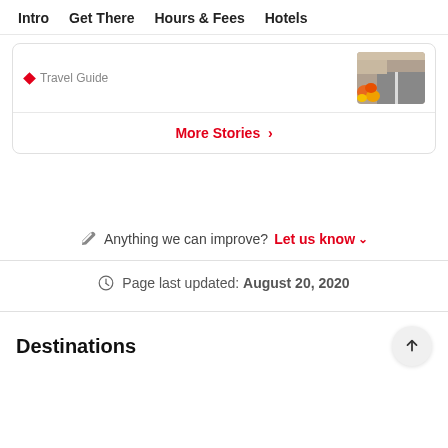Intro   Get There   Hours & Fees   Hotels
[Figure (screenshot): A card with a Travel Guide label and a small thumbnail photo of a street market with colorful produce and a road]
More Stories >
Anything we can improve?  Let us know v
Page last updated: August 20, 2020
Destinations